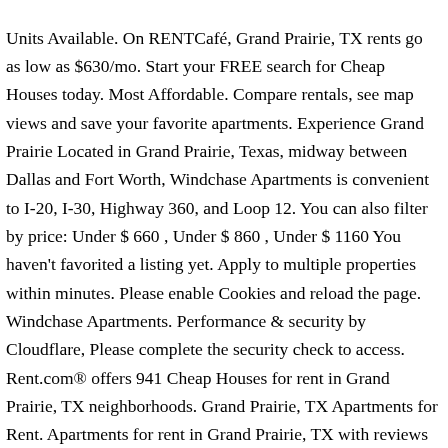Units Available. On RENTCafé, Grand Prairie, TX rents go as low as $630/mo. Start your FREE search for Cheap Houses today. Most Affordable. Compare rentals, see map views and save your favorite apartments. Experience Grand Prairie Located in Grand Prairie, Texas, midway between Dallas and Fort Worth, Windchase Apartments is convenient to I-20, I-30, Highway 360, and Loop 12. You can also filter by price: Under $ 660 , Under $ 860 , Under $ 1160 You haven't favorited a listing yet. Apply to multiple properties within minutes. Please enable Cookies and reload the page. Windchase Apartments. Performance & security by Cloudflare, Please complete the security check to access. Rent.com® offers 941 Cheap Houses for rent in Grand Prairie, TX neighborhoods. Grand Prairie, TX Apartments for Rent. Apartments for rent in Grand Prairie, TX with reviews and ratings. Sqft Unknown. Check Availability. My husband and I moved into the Sheffield Square Apartments of Grand Prairie, TX, in October of 2011. Sunridge.